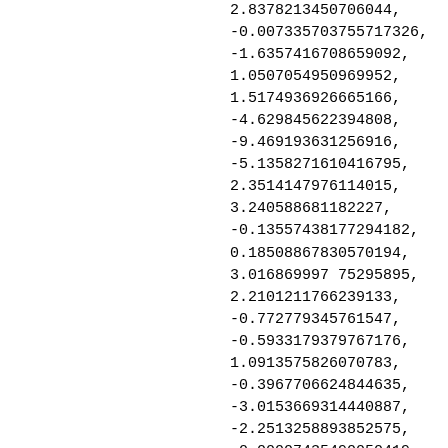2.8378213450706044,
-0.007335703755717326,
-1.6357416708659092,
1.0507054950969952,
1.5174936926665166,
-4.629845622394808,
-9.469193631256916,
-5.135827161O416795,
2.3514147976114015,
3.24058868118222 7,
-0.13557438177294182,
0.18508867830570194,
3.016869997 75295895,
2.2101211766239133,
-0.772779345761547,
-0.5933179379767176,
1.0913575826070783,
-0.3967706624844635,
-3.0153669314440887,
-2.2513258893852575,
-0.00007435490050419...